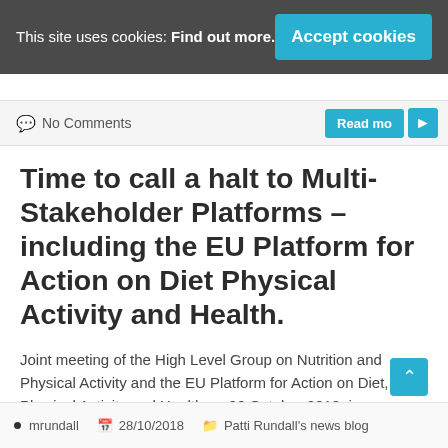This site uses cookies: Find out more.   Accept cookies
No Comments   Read mo
Time to call a halt to Multi-Stakeholder Platforms – including the EU Platform for Action on Diet Physical Activity and Health.
Joint meeting of the High Level Group on Nutrition and Physical Activity and the EU Platform for Action on Diet, Physical Activity and Health on 26 October 2018, in Luxembourg Joint Meeting Agenda  Platform Agenda Minutes of the Platform meeting...
• mrundall   28/10/2018   Patti Rundall's news blog